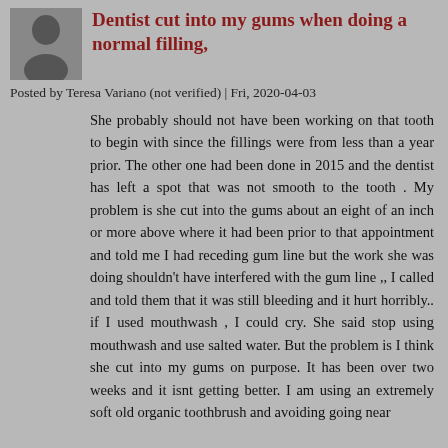Dentist cut into my gums when doing a normal filling,
Posted by Teresa Variano (not verified) | Fri, 2020-04-03
She probably should not have been working on that tooth to begin with since the fillings were from less than a year prior. The other one had been done in 2015 and the dentist has left a spot that was not smooth to the tooth . My problem is she cut into the gums about an eight of an inch or more above where it had been prior to that appointment and told me I had receding gum line but the work she was doing shouldn't have interfered with the gum line ,, I called and told them that it was still bleeding and it hurt horribly.. if I used mouthwash , I could cry. She said stop using mouthwash and use salted water. But the problem is I think she cut into my gums on purpose. It has been over two weeks and it isnt getting better. I am using an extremely soft old organic toothbrush and avoiding going near